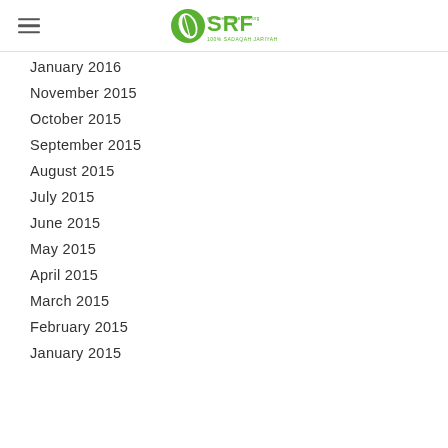[Figure (logo): SRF logo with green leaf and text 'SRF' in green, with tagline '100% SADAQAH JARIYAH']
January 2016
November 2015
October 2015
September 2015
August 2015
July 2015
June 2015
May 2015
April 2015
March 2015
February 2015
January 2015